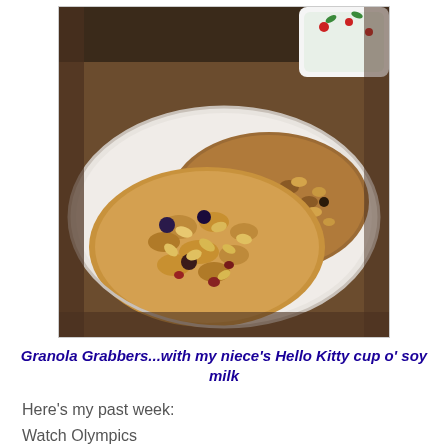[Figure (photo): Photo of granola cookies on a white plate with a Hello Kitty cup in the background. Cookies are oatmeal-style with dried fruit and nuts visible.]
Granola Grabbers...with my niece's Hello Kitty cup o' soy milk
Here's my past week:
Watch Olympics
Oat... and deliveries. Cleaning (Pick... not let the...